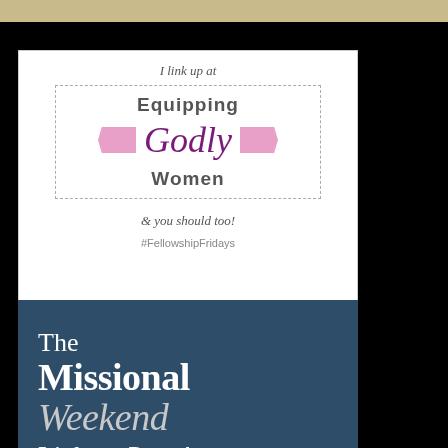[Figure (logo): Equipping Godly Women badge with text: I link up at / Equipping Godly Women / & you should too! / #FellowshipFridays]
[Figure (logo): The Missional Weekend Link-up Party! badge on dark blue background]